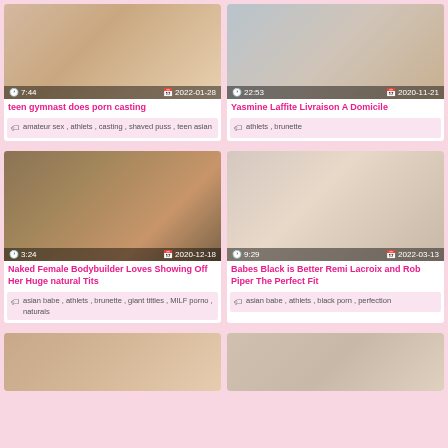[Figure (photo): Video thumbnail - teen gymnast, duration 7:44, date 2022-01-28]
teen gymnast does porn casting
amateur sex , athlets , casting , shaved puss , teen asian
[Figure (photo): Video thumbnail - Yasmine Laffite, duration 22:53, date 2020-11-21]
Yasmine Laffite Livraison A Domicile
athlets , brunette
[Figure (photo): Video thumbnail - Naked Female Bodybuilder, duration 3:24, date 2020-12-18]
Naked Female Bodybuilder Loves Showing Off Her Huge natural Tits
asian babe , athlets , brunette , giant titties , MILF porno , naturals
[Figure (photo): Video thumbnail - Babes Black is Better, duration 9:29, date 2022-03-13]
Babes Black is Better Remi Lacroix and Rob Piper The Perfect Fit
asian babe , athlets , black porn , perfection
[Figure (photo): Video thumbnail bottom left, partially visible]
[Figure (photo): Video thumbnail bottom right, partially visible]